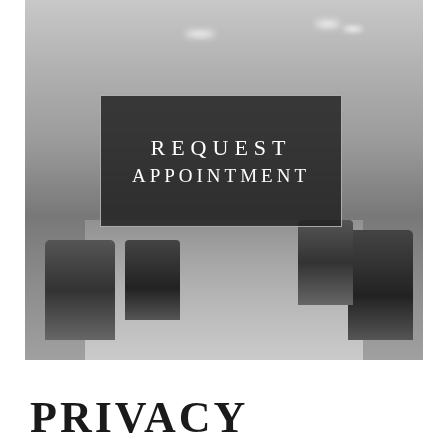[Figure (photo): Grayscale photograph of a hair salon interior showing styling chairs on both sides, a light-colored wooden floor, brick wall on the right, ceiling lights, and mirrors. Overlaid in the center is a dark semi-transparent box with white text reading 'REQUEST APPOINTMENT' in spaced uppercase letters with a thin white border.]
PRIVACY